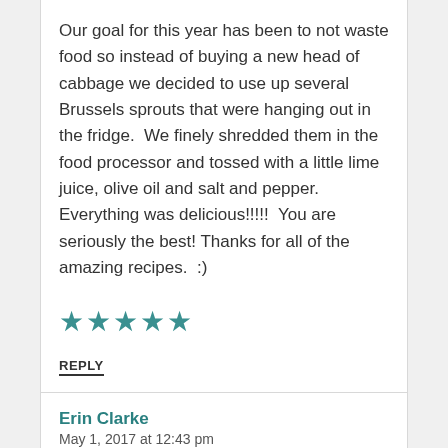Our goal for this year has been to not waste food so instead of buying a new head of cabbage we decided to use up several Brussels sprouts that were hanging out in the fridge.  We finely shredded them in the food processor and tossed with a little lime juice, olive oil and salt and pepper. Everything was delicious!!!!!  You are seriously the best! Thanks for all of the amazing recipes.  :)
[Figure (other): Five teal/dark cyan filled star rating icons]
REPLY
Erin Clarke
May 1, 2017 at 12:43 pm
Tracy, thanks for sharing this awesome review!
The brussels sprouts sound like a delicious addition, and I'm so glad to hear that the whole